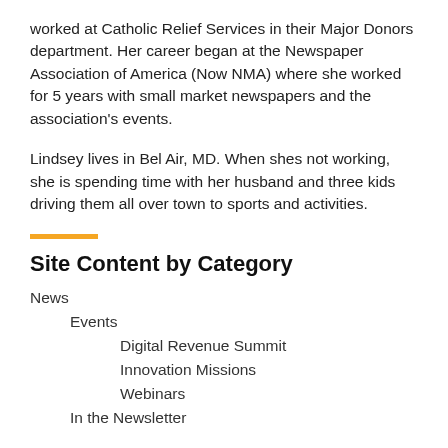worked at Catholic Relief Services in their Major Donors department. Her career began at the Newspaper Association of America (Now NMA) where she worked for 5 years with small market newspapers and the association's events.
Lindsey lives in Bel Air, MD. When shes not working, she is spending time with her husband and three kids driving them all over town to sports and activities.
Site Content by Category
News
Events
Digital Revenue Summit
Innovation Missions
Webinars
In the Newsletter